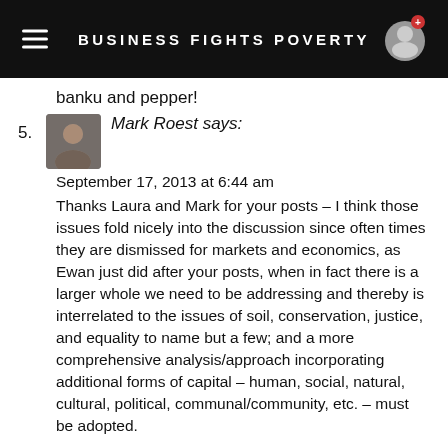BUSINESS FIGHTS POVERTY
banku and pepper!
5. Mark Roest says:
September 17, 2013 at 6:44 am
Thanks Laura and Mark for your posts – I think those issues fold nicely into the discussion since often times they are dismissed for markets and economics, as Ewan just did after your posts, when in fact there is a larger whole we need to be addressing and thereby is interrelated to the issues of soil, conservation, justice, and equality to name but a few; and a more comprehensive analysis/approach incorporating additional forms of capital – human, social, natural, cultural, political, communal/community, etc. – must be adopted.
I also wonder about the ongoing dialog of measuring parts of our society which might